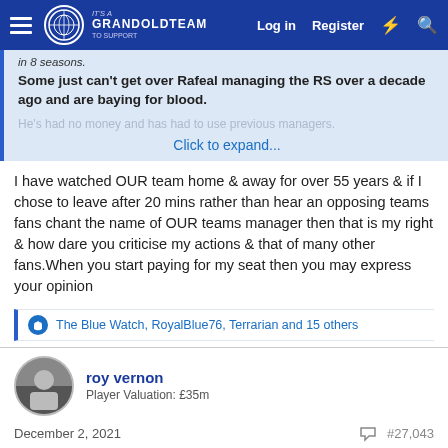GrandOldTeam — Log in | Register
in 8 seasons.
Some just can't get over Rafeal managing the RS over a decade ago and are baying for blood.
He's had no money and has had to use previous managers... Click to expand...
I have watched OUR team home & away for over 55 years & if I chose to leave after 20 mins rather than hear an opposing teams fans chant the name of OUR teams manager then that is my right & how dare you criticise my actions & that of many other fans.When you start paying for my seat then you may express your opinion
The Blue Watch, RoyalBlue76, Terrarian and 15 others
roy vernon
Player Valuation: £35m
December 2, 2021
#27,043